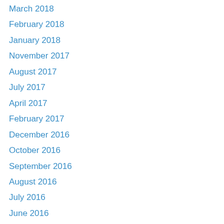March 2018
February 2018
January 2018
November 2017
August 2017
July 2017
April 2017
February 2017
December 2016
October 2016
September 2016
August 2016
July 2016
June 2016
May 2016
April 2016
March 2016
January 2016
December 2015
November 2015